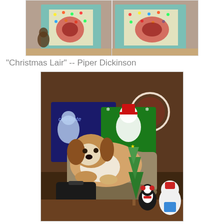[Figure (photo): Two side-by-side photos of a dog near a lit decorative box/cabinet with Christmas lights and holiday decor, on a wooden floor.]
"Christmas Lair" -- Piper Dickinson
[Figure (photo): A dog (beagle) sitting in a metal tub/bucket surrounded by Christmas decorations including penguin figurines, a snowman, a small Christmas tree, holiday boxes, and a coal bag, inside what appears to be a cabinet or hutch.]